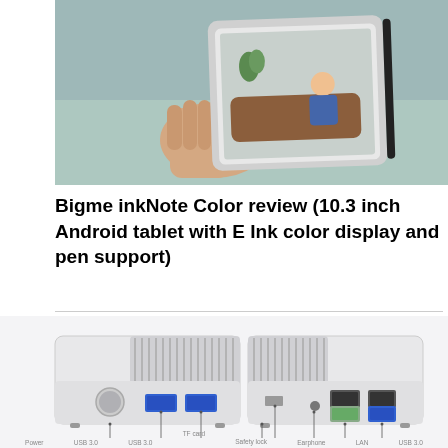[Figure (photo): Hand holding a 10.3-inch E Ink color tablet (Bigme inkNote Color) against a light teal/green background. The tablet screen shows an illustration of a person reading on a couch.]
Bigme inkNote Color review (10.3 inch Android tablet with E Ink color display and pen support)
[Figure (photo): Product photo showing front and back of a silver mini PC unit with labeled ports: Power, USB 3.0, USB 3.0 on front; TF card, Safety lock, Earphone, LAN, USB 3.0 on back. Lines point to each port with text labels below.]